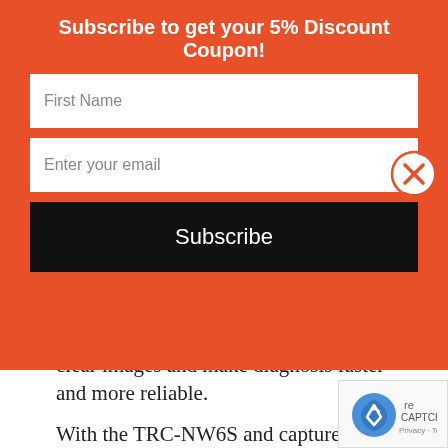Subscribe to get your 5% Discount Coupon!
[Figure (screenshot): Email subscription form with First Name input, Enter your email input, and Subscribe button on orange background with close (X) button]
clear images and make diagnosis faster and more reliable.
With the TRC-NW6S and capture software, panoramic images of the retina including peripheral area can be made by using easy, semi-automatic guidance of peripheral fixation.
The Topcon NW6s NM Fundus Camera is the ideal instrument for the growing market in Telemedicine and Diabetic Screening. The Camera features (8) peripheral fixation points as